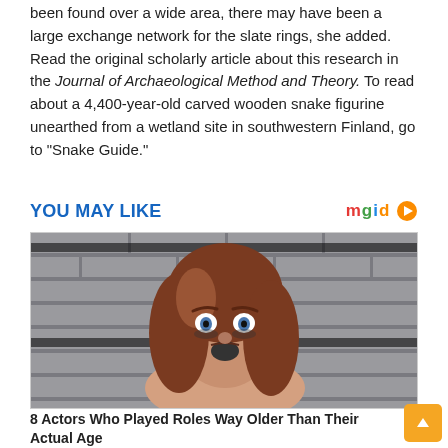been found over a wide area, there may have been a large exchange network for the slate rings, she added. Read the original scholarly article about this research in the Journal of Archaeological Method and Theory. To read about a 4,400-year-old carved wooden snake figurine unearthed from a wetland site in southwestern Finland, go to “Snake Guide.”
YOU MAY LIKE
[Figure (photo): A woman with red-brown hair looking shocked or surprised, against a concrete block wall background with dark horizontal stripes.]
8 Actors Who Played Roles Way Older Than Their Actual Age